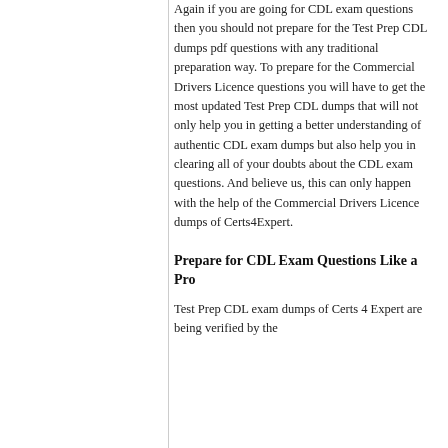Again if you are going for CDL exam questions then you should not prepare for the Test Prep CDL dumps pdf questions with any traditional preparation way. To prepare for the Commercial Drivers Licence questions you will have to get the most updated Test Prep CDL dumps that will not only help you in getting a better understanding of authentic CDL exam dumps but also help you in clearing all of your doubts about the CDL exam questions. And believe us, this can only happen with the help of the Commercial Drivers Licence dumps of Certs4Expert.
Prepare for CDL Exam Questions Like a Pro
Test Prep CDL exam dumps of Certs 4 Expert are being verified by the